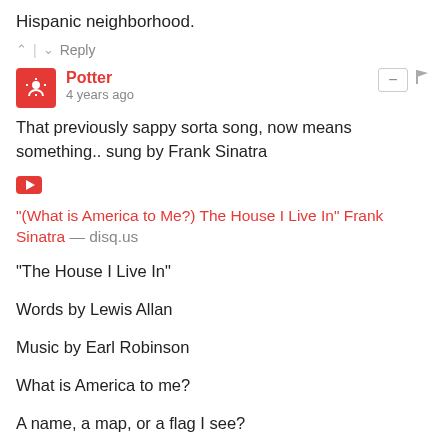Hispanic neighborhood.
^ | v   Reply
Potter
4 years ago
That previously sappy sorta song, now means something.. sung by Frank Sinatra
"(What is America to Me?) The House I Live In" Frank Sinatra — disq.us
"The House I Live In"
Words by Lewis Allan
Music by Earl Robinson
What is America to me?
A name, a map, or a flag I see?
A certain word, "democracy"?
What is America to me?